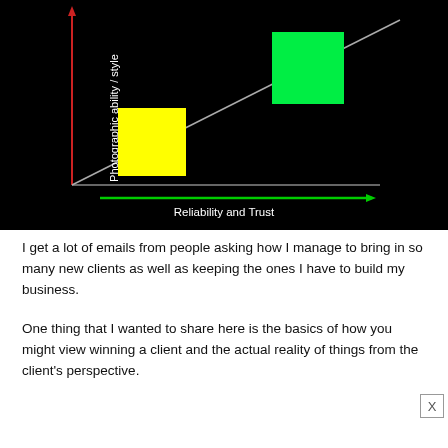[Figure (other): Scatter plot diagram on black background showing 'Photographic ability / style' on y-axis (vertical, red arrow) and 'Reliability and Trust' on x-axis (green arrow). A diagonal gray line runs from bottom-left to top-right. A yellow square sits below the line (lower-left area) and a green square sits above the line (upper-right area), illustrating two different positions relative to the trust/ability diagonal.]
I get a lot of emails from people asking how I manage to bring in so many new clients as well as keeping the ones I have to build my business.
One thing that I wanted to share here is the basics of how you might view winning a client and the actual reality of things from the client's perspective.